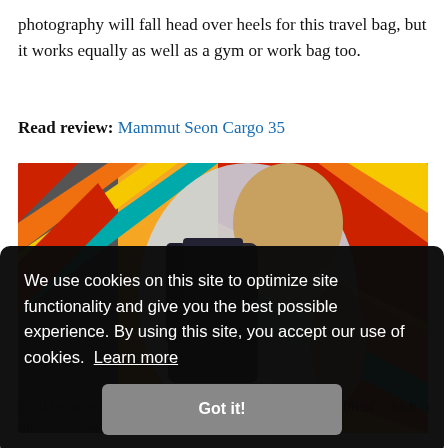photography will fall head over heels for this travel bag, but it works equally as well as a gym or work bag too.
Read review: Mammut Seon Cargo 35
[Figure (photo): Woman wearing a dark backpack in front of a colorful zigzag mural wall]
We use cookies on this site to optimize site functionality and give you the best possible experience. By using this site, you accept our use of cookies. Learn more
Got it!
hich is good because the pocket design means it spends a good bit of time face down.